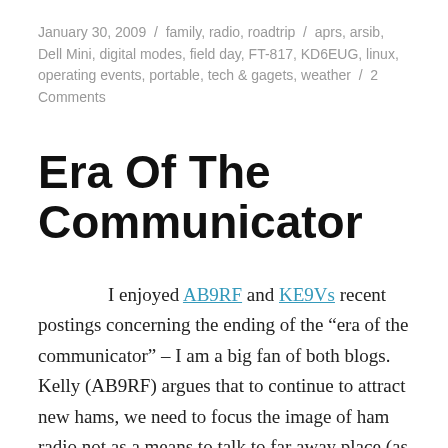January 30, 2009 / family, radio, roadtrip / aprs, arsib, Dell Mini, digital modes, field day, FT-817, KD6EUG, linux, operating events, portable, tech & gagets, weather / 2 Comments
Era Of The Communicator
I enjoyed AB9RF and KE9Vs recent postings concerning the ending of the “era of the communicator” – I am a big fan of both blogs. Kelly (AB9RF) argues that to continue to attract new hams, we need to focus the image of ham radio not as a means to talk to far away place (as this can be accomplished with any cell